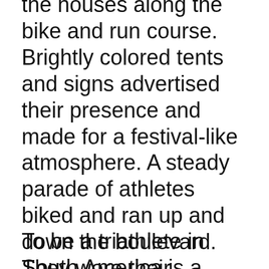the houses along the bike and run course. Brightly colored tents and signs advertised their presence and made for a festival-like atmosphere. A steady parade of athletes biked and ran up and down the boulevard. They wore their respective team colors and country flags on their jerseys, and yelled taunts and encouragement to each other in Portuguese, Spanish and English as they passed.
To be a triathlete in South America is a special thing. “We face danger